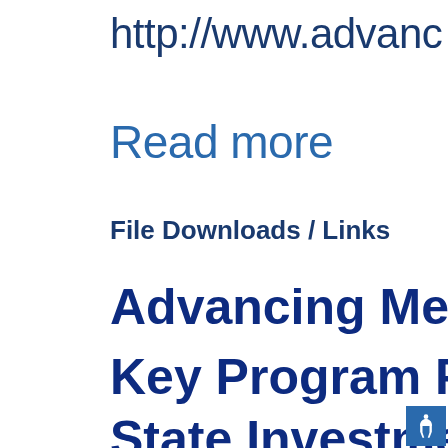http://www.advanc
Read more
File Downloads / Links
Advancing Medicar
Key Program Featu
State Investment